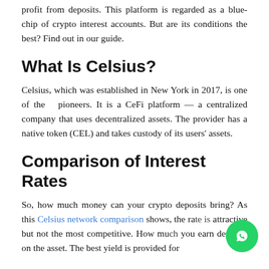profit from deposits. This platform is regarded as a blue-chip of crypto interest accounts. But are its conditions the best? Find out in our guide.
What Is Celsius?
Celsius, which was established in New York in 2017, is one of the pioneers. It is a CeFi platform — a centralized company that uses decentralized assets. The provider has a native token (CEL) and takes custody of its users' assets.
Comparison of Interest Rates
So, how much money can your crypto deposits bring? As this Celsius network comparison shows, the ra... attractive but not the most competitive. How mu... you earn depends on the asset. The best yield is provided for